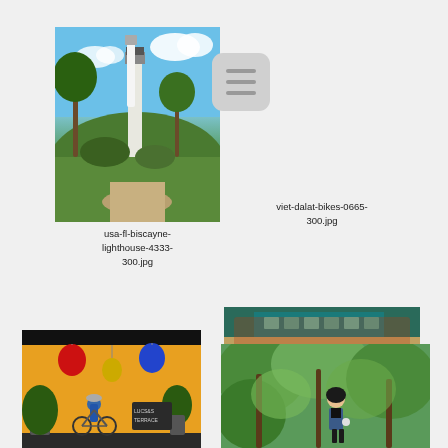[Figure (photo): Lighthouse with palm trees against blue sky, Biscayne Florida]
[Figure (other): Menu/hamburger icon button, rounded rectangle with three horizontal lines]
[Figure (photo): Colorful graffiti mural on a wall with green shrubbery in front, Dalat Vietnam bikes]
usa-fl-biscayne-lighthouse-4333-300.jpg
viet-dalat-bikes-0665-300.jpg
[Figure (photo): Person with bicycle in front of yellow wall with lanterns in Hoi An]
[Figure (photo): Young woman standing among trees with green foliage]